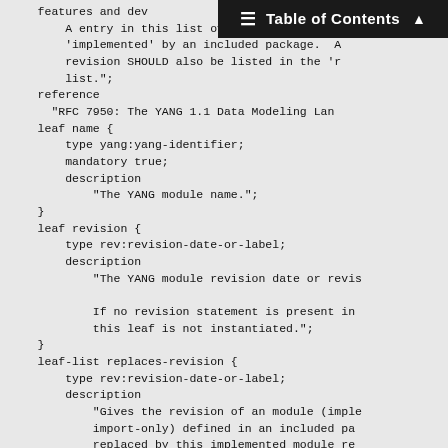Table of Contents
features and dev...
    A entry in this list overrides any modu...
    'implemented' by an included package.  A...
    revision SHOULD also be listed in the 'r...
    list.";
reference
  "RFC 7950: The YANG 1.1 Data Modeling La...
leaf name {
    type yang:yang-identifier;
    mandatory true;
    description
        "The YANG module name.";
}
leaf revision {
    type rev:revision-date-or-label;
    description
        "The YANG module revision date or revis...

        If no revision statement is present in...
        this leaf is not instantiated.";
}
leaf-list replaces-revision {
    type rev:revision-date-or-label;
    description
        "Gives the revision of an module (imple...
        import-only) defined in an included pa...
        replaced by this implemented module re...
}
leaf namespace {